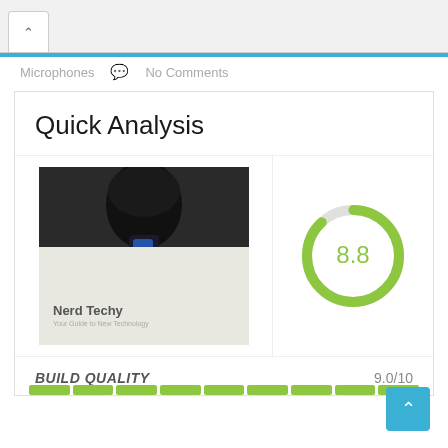Microphones   No Comments
Quick Analysis
[Figure (photo): Photo of a condenser microphone on a tripod stand on a desk, with Nerd Techy branding watermark]
[Figure (donut-chart): Green donut chart showing score 8.8 out of 10]
BUILD QUALITY    9.0/10